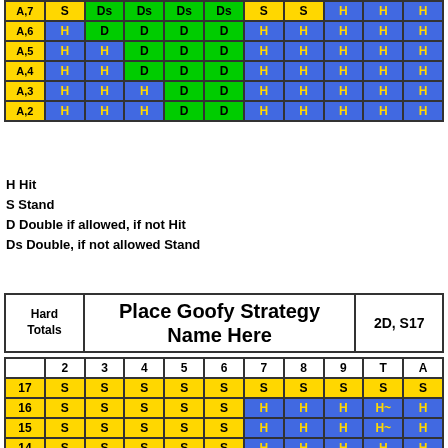|  | 2 | 3 | 4 | 5 | 6 | 7 | 8 | 9 | T | A |
| --- | --- | --- | --- | --- | --- | --- | --- | --- | --- | --- |
| A,7 | S | Ds | Ds | Ds | Ds | S | S | H | H | H |
| A,6 | H | D | D | D | D | H | H | H | H | H |
| A,5 | H | H | D | D | D | H | H | H | H | H |
| A,4 | H | H | D | D | D | H | H | H | H | H |
| A,3 | H | H | H | D | D | H | H | H | H | H |
| A,2 | H | H | H | D | D | H | H | H | H | H |
H Hit
S Stand
D Double if allowed, if not Hit
Ds Double, if not allowed Stand
| Hard Totals | Place Goofy Strategy Name Here | 2D, S17 |
| --- | --- | --- |
|  | 2 | 3 | 4 | 5 | 6 | 7 | 8 | 9 | T | A |
| --- | --- | --- | --- | --- | --- | --- | --- | --- | --- | --- |
| 17 | S | S | S | S | S | S | S | S | S | S |
| 16 | S | S | S | S | S | H | H | H | H~ | H |
| 15 | S | S | S | S | S | H | H | H | H~ | H |
| 14 | S | S | S | S | S | H | H | H | H | H |